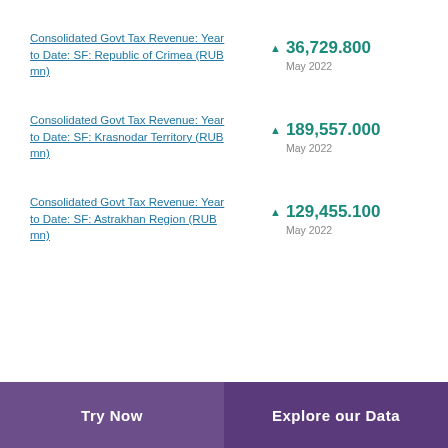Consolidated Govt Tax Revenue: Year to Date: SF: Republic of Crimea (RUB mn)
Consolidated Govt Tax Revenue: Year to Date: SF: Krasnodar Territory (RUB mn)
Consolidated Govt Tax Revenue: Year to Date: SF: Astrakhan Region (RUB mn)
Try Now   Explore our Data